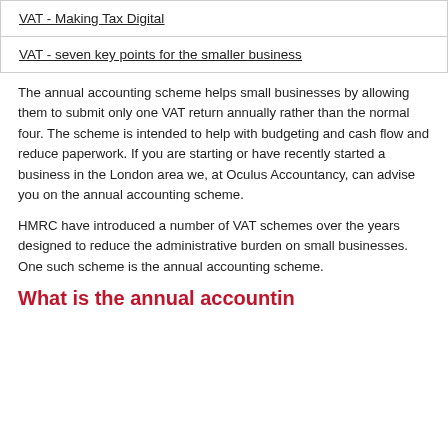| VAT - Making Tax Digital |
| VAT - seven key points for the smaller business |
The annual accounting scheme helps small businesses by allowing them to submit only one VAT return annually rather than the normal four. The scheme is intended to help with budgeting and cash flow and reduce paperwork. If you are starting or have recently started a business in the London area we, at Oculus Accountancy, can advise you on the annual accounting scheme.
HMRC have introduced a number of VAT schemes over the years designed to reduce the administrative burden on small businesses. One such scheme is the annual accounting scheme.
What is the annual accounting